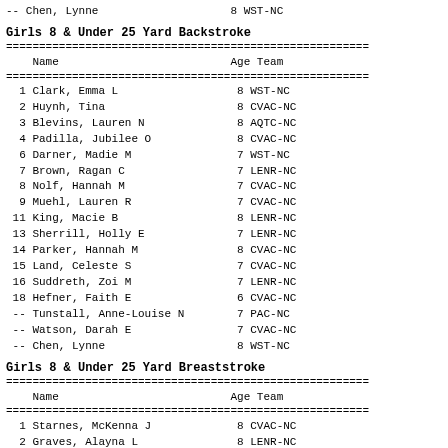-- Chen, Lynne   8 WST-NC
Girls 8 & Under 25 Yard Backstroke
| Name | Age | Team |
| --- | --- | --- |
| 1 | Clark, Emma L | 8 | WST-NC |
| 2 | Huynh, Tina | 8 | CVAC-NC |
| 3 | Blevins, Lauren N | 8 | AQTC-NC |
| 4 | Padilla, Jubilee O | 8 | CVAC-NC |
| 6 | Darner, Madie M | 7 | WST-NC |
| 7 | Brown, Ragan C | 7 | LENR-NC |
| 8 | Nolf, Hannah M | 7 | CVAC-NC |
| 9 | Muehl, Lauren R | 7 | CVAC-NC |
| 11 | King, Macie B | 8 | LENR-NC |
| 13 | Sherrill, Holly E | 7 | LENR-NC |
| 14 | Parker, Hannah M | 8 | CVAC-NC |
| 15 | Land, Celeste S | 7 | CVAC-NC |
| 16 | Suddreth, Zoi M | 7 | LENR-NC |
| 18 | Hefner, Faith E | 6 | CVAC-NC |
| -- | Tunstall, Anne-Louise N | 7 | PAC-NC |
| -- | Watson, Darah E | 7 | CVAC-NC |
| -- | Chen, Lynne | 8 | WST-NC |
Girls 8 & Under 25 Yard Breaststroke
| Name | Age | Team |
| --- | --- | --- |
| 1 | Starnes, McKenna J | 8 | CVAC-NC |
| 2 | Graves, Alayna L | 8 | LENR-NC |